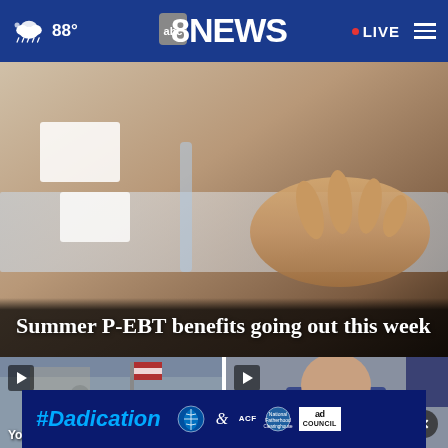abc8NEWS | 88° | LIVE
[Figure (photo): Close-up photo of a hand pressing on a surface, main hero image for news story about Summer P-EBT benefits]
Summer P-EBT benefits going out this week
[Figure (photo): Thumbnail video still showing classroom scene with American flag]
[Figure (photo): Thumbnail video still showing a man in a suit with red tie]
You
[Figure (infographic): #Dadication advertisement banner with HHS, ACF, and Ad Council logos]